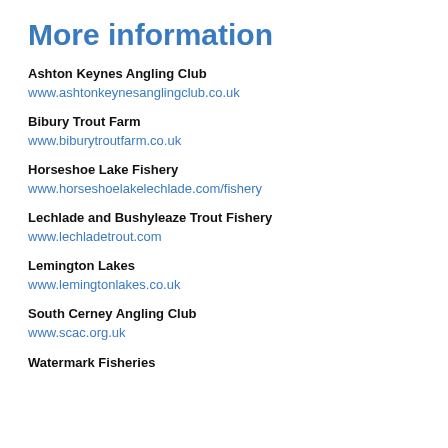More information
Ashton Keynes Angling Club
www.ashtonkeynesanglingclub.co.uk
Bibury Trout Farm
www.biburytroutfarm.co.uk
Horseshoe Lake Fishery
www.horseshoelakelechlade.com/fishery
Lechlade and Bushyleaze Trout Fishery
www.lechladetrout.com
Lemington Lakes
www.lemingtonlakes.co.uk
South Cerney Angling Club
www.scac.org.uk
Watermark Fisheries